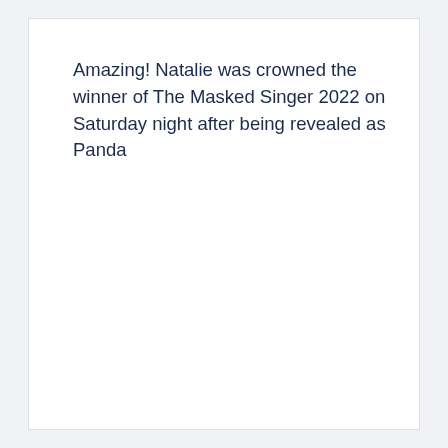Amazing! Natalie was crowned the winner of The Masked Singer 2022 on Saturday night after being revealed as Panda